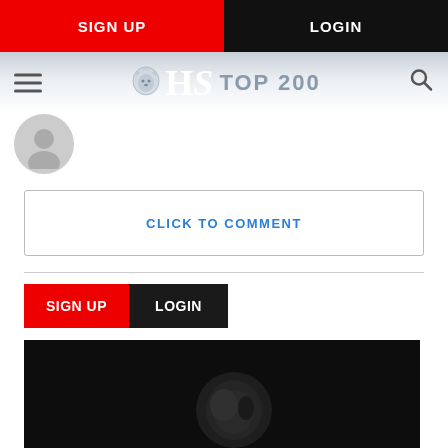SIGN UP | LOGIN
[Figure (logo): HS TOP 200 logo with lion icon, hamburger menu and search icon]
[Figure (illustration): User avatar circle placeholder]
CLICK TO COMMENT
SIGN UP LOGIN
[Figure (photo): Dark portrait photo of Patrick Tuipulotu with WE ARE TENZING banner at bottom]